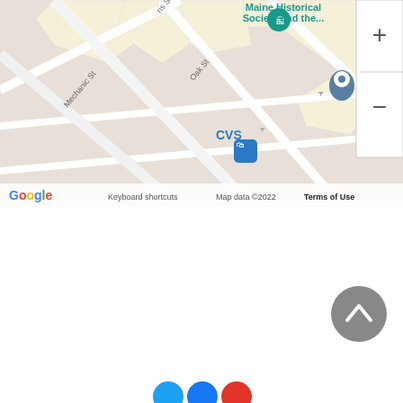[Figure (map): Google Maps screenshot showing streets near Maine Historical Society and the... with Aura location pin, CVS store marker, street names including Mechanic St, Oak St, and zoom controls (+/-). Map data ©2022. Terms of Use shown at bottom right.]
[Figure (other): Gray circular button with upward chevron arrow (scroll to top button) in bottom right area of page]
[Figure (other): Partial social sharing icons at bottom center: blue circle, blue circle, red circle]